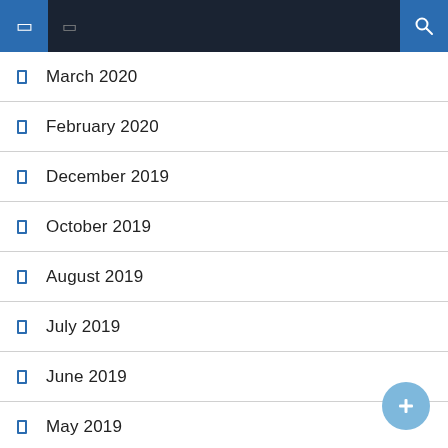Navigation bar with icons
March 2020
February 2020
December 2019
October 2019
August 2019
July 2019
June 2019
May 2019
April 2019
March 2019